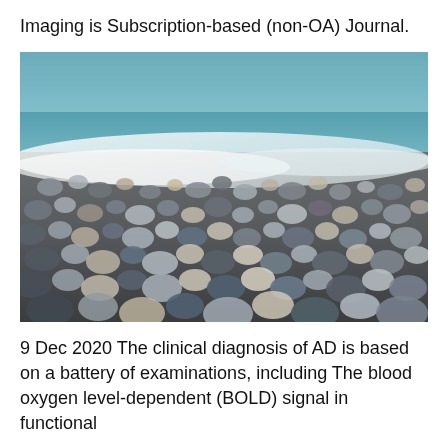Imaging is Subscription-based (non-OA) Journal.
[Figure (photo): Close-up photograph of a pebble beach with waves and sea foam visible in the background. Foreground shows densely packed smooth stones and pebbles of various sizes and colors including grey, blue, beige, and brown.]
9 Dec 2020 The clinical diagnosis of AD is based on a battery of examinations, including The blood oxygen level-dependent (BOLD) signal in functional